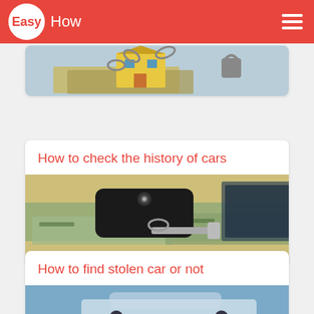Easy How
[Figure (photo): A toy house with chains and padlock on top of money bills, symbolizing home mortgage or property security]
How to check the history of cars
[Figure (photo): A car key fob and key resting on top of paper money bills, representing car purchase or financial transaction]
How to find stolen car or not
[Figure (photo): Partial image of a car scene, partially visible at bottom of page]